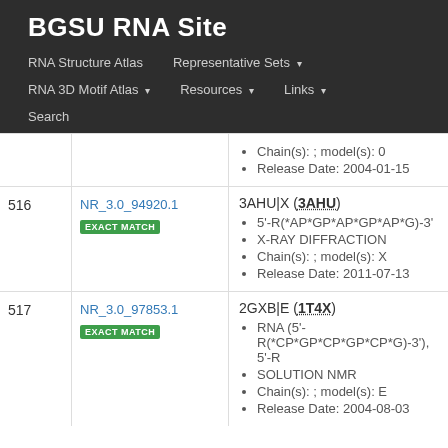BGSU RNA Site
RNA Structure Atlas | Representative Sets ▾ | RNA 3D Motif Atlas ▾ | Resources ▾ | Links ▾ | Search
Chain(s): ; model(s): 0
Release Date: 2004-01-15
516  NR_3.0_94920.1  EXACT MATCH
3AHU|X (3AHU)
5'-R(*AP*GP*AP*GP*AP*G)-3'
X-RAY DIFFRACTION
Chain(s): ; model(s): X
Release Date: 2011-07-13
517  NR_3.0_97853.1  EXACT MATCH
2GXB|E (1T4X)
RNA (5'-R(*CP*GP*CP*GP*CP*G)-3'), 5'-R
SOLUTION NMR
Chain(s): ; model(s): E
Release Date: 2004-08-03